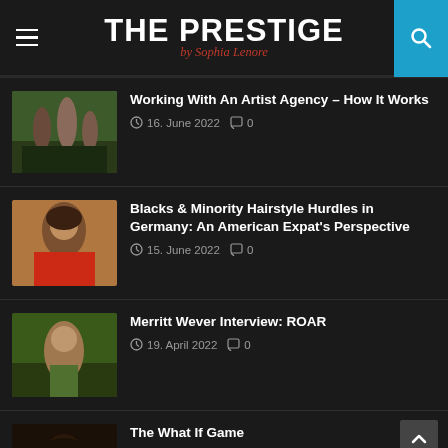THE PRESTIGE by Sophia Lenore
Working With An Artist Agency – How It Works
16. June 2022  0
[Figure (photo): Group of people outdoors in a park or garden setting]
Blacks & Minority Hairstyle Hurdles in Germany: An American Expat's Perspective
15. June 2022  0
[Figure (photo): Portrait of a person with natural hair against a warm background, wearing red]
Merritt Wever Interview: ROAR
19. April 2022  0
[Figure (photo): Outdoor portrait of a person among green foliage]
The What If Game
30. March 2022  0
[Figure (photo): Close-up portrait of a woman with curly hair]